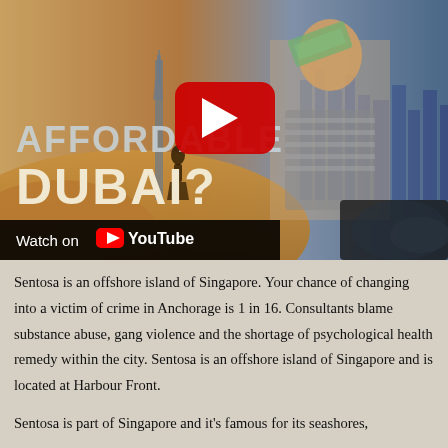[Figure (screenshot): YouTube video thumbnail showing 'AFFORDABLE DUBAI?' with a man on a jet ski holding money on the right, and a woman on sand dunes with a tower in the background on the left. A YouTube play button overlay is visible. 'Watch on YouTube' bar at the bottom left.]
Sentosa is an offshore island of Singapore. Your chance of changing into a victim of crime in Anchorage is 1 in 16. Consultants blame substance abuse, gang violence and the shortage of psychological health remedy within the city. Sentosa is an offshore island of Singapore and is located at Harbour Front.
Sentosa is part of Singapore and it's famous for its seashores,